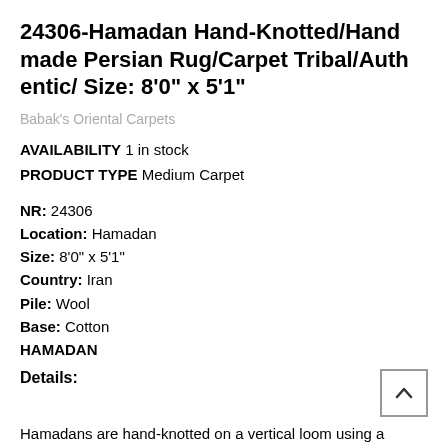24306-Hamadan Hand-Knotted/Handmade Persian Rug/Carpet Tribal/Authentic/ Size: 8'0" x 5'1"
Babak's Oriental Carpets
AVAILABILITY 1 in stock
PRODUCT TYPE Medium Carpet
NR: 24306
Location: Hamadan
Size: 8'0" x 5'1"
Country: Iran
Pile: Wool
Base: Cotton
HAMADAN
Details:
Hamadans are hand-knotted on a vertical loom using a cotton warp and weft.  Usually the weft...